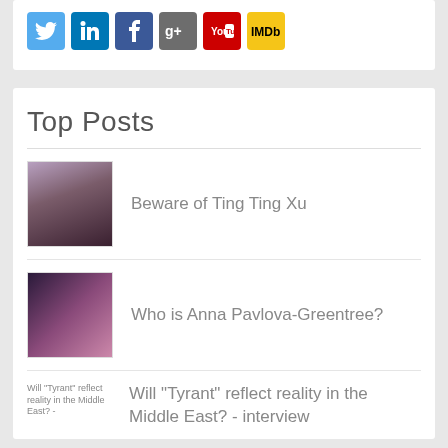[Figure (infographic): Row of social media icon buttons: Twitter (blue bird), LinkedIn (blue), Facebook (dark blue), Google+ (grey), YouTube (red), IMDb (yellow/gold)]
Top Posts
[Figure (photo): Thumbnail photo of a woman (Ting Ting Xu)]
Beware of Ting Ting Xu
[Figure (photo): Thumbnail photo of Anna Pavlova-Greentree at an event]
Who is Anna Pavlova-Greentree?
[Figure (photo): Broken image placeholder for article about Will "Tyrant" reflect reality in the Middle East?]
Will "Tyrant" reflect reality in the Middle East? - interview